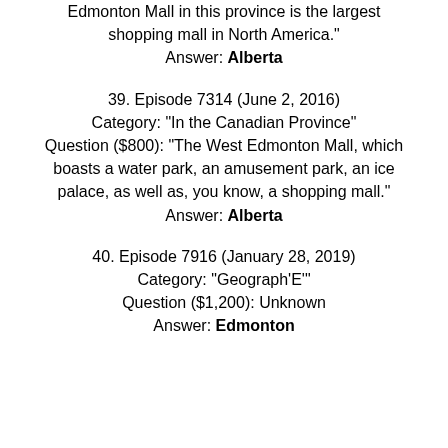Edmonton Mall in this province is the largest shopping mall in North America."
Answer: Alberta
39. Episode 7314 (June 2, 2016)
Category: "In the Canadian Province"
Question ($800): "The West Edmonton Mall, which boasts a water park, an amusement park, an ice palace, as well as, you know, a shopping mall."
Answer: Alberta
40. Episode 7916 (January 28, 2019)
Category: "Geograph'E'"
Question ($1,200): Unknown
Answer: Edmonton